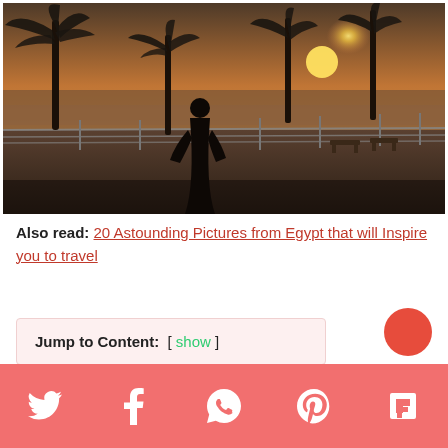[Figure (photo): Sunset photo of a waterfront promenade with palm trees and silhouette of a person in black abaya standing by a metal railing, with golden sun visible through hazy sky]
Also read: 20 Astounding Pictures from Egypt that will Inspire you to travel
Jump to Content:  [ show ]
Social share bar with Twitter, Facebook, WhatsApp, Pinterest, Flipboard icons